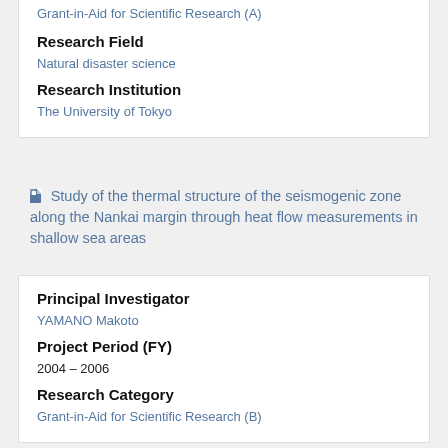Research Field
Natural disaster science
Research Institution
The University of Tokyo
Study of the thermal structure of the seismogenic zone along the Nankai margin through heat flow measurements in shallow sea areas
Principal Investigator
YAMANO Makoto
Project Period (FY)
2004 – 2006
Research Category
Grant-in-Aid for Scientific Research (B)